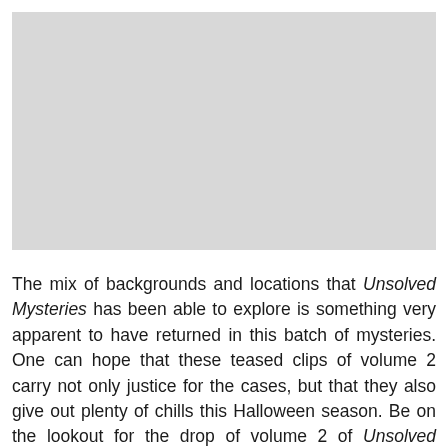[Figure (photo): Gray placeholder image occupying the upper portion of the page]
The mix of backgrounds and locations that Unsolved Mysteries has been able to explore is something very apparent to have returned in this batch of mysteries. One can hope that these teased clips of volume 2 carry not only justice for the cases, but that they also give out plenty of chills this Halloween season. Be on the lookout for the drop of volume 2 of Unsolved Mysteries on Netflix on October